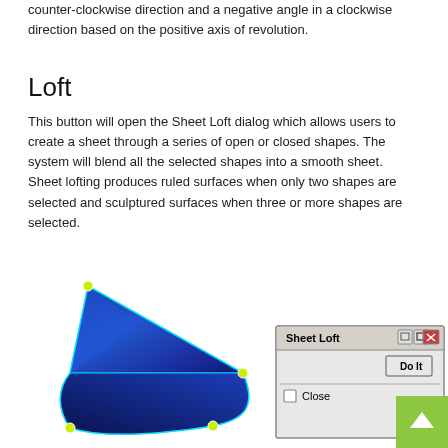counter-clockwise direction and a negative angle in a clockwise direction based on the positive axis of revolution.
Loft
This button will open the Sheet Loft dialog which allows users to create a sheet through a series of open or closed shapes. The system will blend all the selected shapes into a smooth sheet. Sheet lofting produces ruled surfaces when only two shapes are selected and sculptured surfaces when three or more shapes are selected.
[Figure (screenshot): Screenshot showing a 3D blue lofted sheet shape with control points marked in yellow-green, alongside a 'Sheet Loft' dialog box containing a 'Do It' button and a 'Close' checkbox.]
[Figure (other): Green back-to-top arrow button in the bottom right corner.]